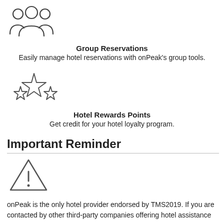[Figure (illustration): Three person group silhouette icon (outline style)]
Group Reservations
Easily manage hotel reservations with onPeak's group tools.
[Figure (illustration): Three stars icon (outline style, center star larger)]
Hotel Rewards Points
Get credit for your hotel loyalty program.
Important Reminder
[Figure (illustration): Warning triangle icon with exclamation mark (outline style)]
onPeak is the only hotel provider endorsed by TMS2019. If you are contacted by other third-party companies offering hotel assistance